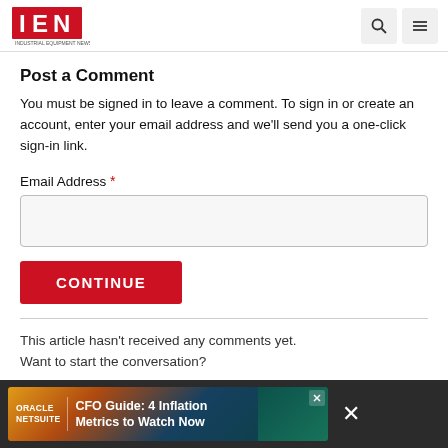[Figure (logo): IEN Industrial Equipment News logo - red bold IEN letters with tagline]
Post a Comment
You must be signed in to leave a comment. To sign in or create an account, enter your email address and we'll send you a one-click sign-in link.
Email Address *
CONTINUE
This article hasn't received any comments yet. Want to start the conversation?
[Figure (screenshot): Oracle NetSuite advertisement banner: CFO Guide: 4 Inflation Metrics to Watch Now]